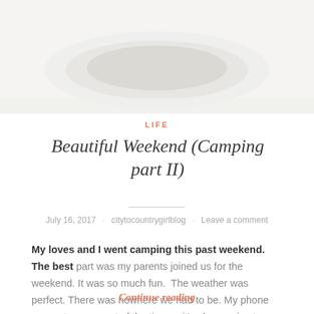[Figure (photo): Cropped top portion of a camping/food photo showing a light background with partial view of a plate or bowl, mostly white/light gray tones.]
LIFE
Beautiful Weekend (Camping part II)
July 16, 2017 · citytocountrygirlblog · Leave a comment
My loves and I went camping this past weekend. The best part was my parents joined us for the weekend. It was so much fun.  The weather was perfect. There was nowhere we had to be. My phone was put away most of the time ... it's always nice to unplug. We went on bike...
Continue reading